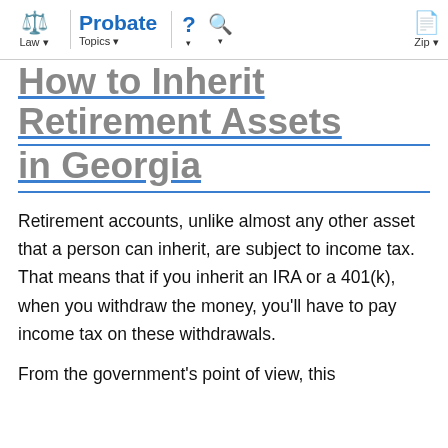Law | Probate Topics | ? | Search | Zip
How to Inherit Retirement Assets in Georgia
Retirement accounts, unlike almost any other asset that a person can inherit, are subject to income tax. That means that if you inherit an IRA or a 401(k), when you withdraw the money, you'll have to pay income tax on these withdrawals.
From the government's point of view, this